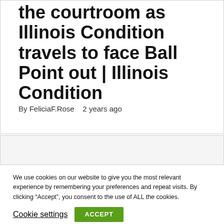the courtroom as Illinois Condition travels to face Ball Point out | Illinois Condition
By FeliciaF.Rose   2 years ago
We use cookies on our website to give you the most relevant experience by remembering your preferences and repeat visits. By clicking "Accept", you consent to the use of ALL the cookies.